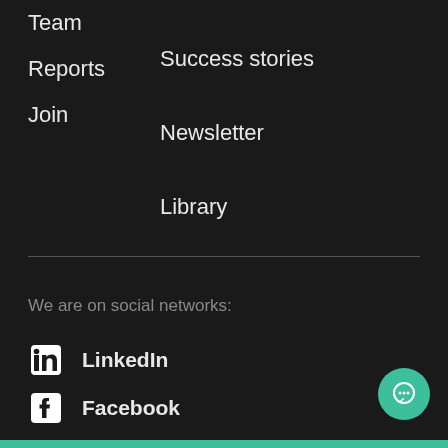Team
Success stories
Reports
Newsletter
Join
Library
We are on social networks:
LinkedIn
Facebook
Twitter
Youtube
Telegram